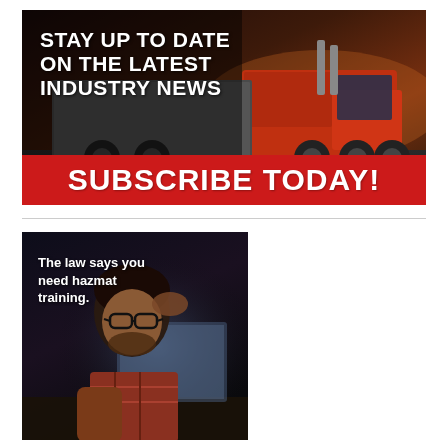[Figure (illustration): Advertisement banner with red semi-truck on dark background with text 'STAY UP TO DATE ON THE LATEST INDUSTRY NEWS' and a red bar at bottom reading 'SUBSCRIBE TODAY!']
[Figure (photo): Photo of a man with glasses and beard looking stressed at a laptop in a dark environment, with text overlay: 'The law says you need hazmat training.']